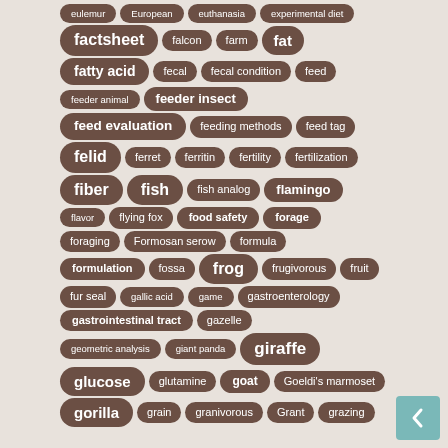eulemur, European, euthanasia, experimental diet, factsheet, falcon, farm, fat, fatty acid, fecal, fecal condition, feed, feeder animal, feeder insect, feed evaluation, feeding methods, feed tag, felid, ferret, ferritin, fertility, fertilization, fiber, fish, fish analog, flamingo, flavor, flying fox, food safety, forage, foraging, Formosan serow, formula, formulation, fossa, frog, frugivorous, fruit, fur seal, gallic acid, game, gastroenterology, gastrointestinal tract, gazelle, geometric analysis, giant panda, giraffe, glucose, glutamine, goat, Goeldi's marmoset, gorilla, grain, granivorous, Grant, grazing